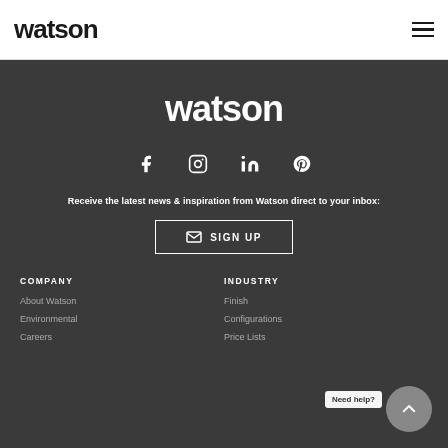watson (logo) | hamburger menu
[Figure (logo): Watson brand logo in white text on dark background]
[Figure (infographic): Social media icons: Facebook, Instagram, LinkedIn, Pinterest]
Receive the latest news & inspiration from Watson direct to your inbox:
SIGN UP
COMPANY
About Watson
Environmental
Careers
INDUSTRY
Finishes
Configurations
Price Lists
Need help?